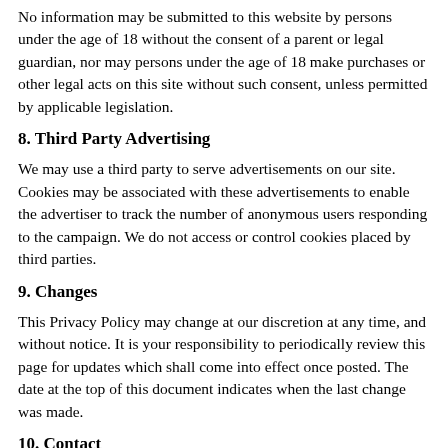No information may be submitted to this website by persons under the age of 18 without the consent of a parent or legal guardian, nor may persons under the age of 18 make purchases or other legal acts on this site without such consent, unless permitted by applicable legislation.
8. Third Party Advertising
We may use a third party to serve advertisements on our site. Cookies may be associated with these advertisements to enable the advertiser to track the number of anonymous users responding to the campaign. We do not access or control cookies placed by third parties.
9. Changes
This Privacy Policy may change at our discretion at any time, and without notice. It is your responsibility to periodically review this page for updates which shall come into effect once posted. The date at the top of this document indicates when the last change was made.
10. Contact